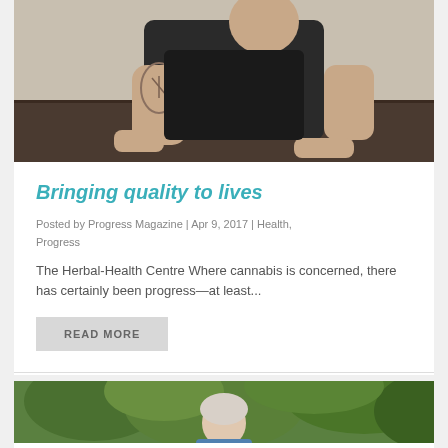[Figure (photo): A tattooed man in a black sleeveless top, sitting at a dark wood table, with tattoos visible on both arms.]
Bringing quality to lives
Posted by Progress Magazine | Apr 9, 2017 | Health, Progress
The Herbal-Health Centre Where cannabis is concerned, there has certainly been progress—at least...
READ MORE
[Figure (photo): An elderly person with light curly hair outdoors among green foliage.]